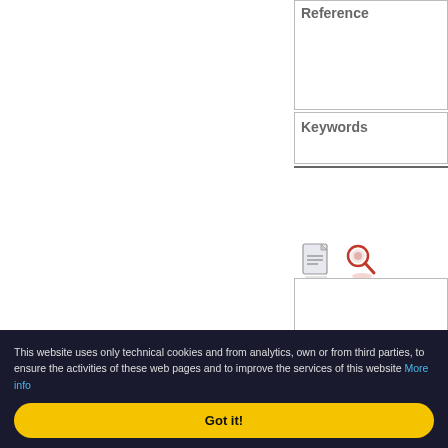Reference
Keywords
[Figure (screenshot): Two small icons: a document/page icon and a red magnifying glass search icon]
Pubblication type
Reference
This website uses only technical cookies and from analytics, own or from third parties, to ensure the activities of these web pages and to improve the services of this website More info
Got it!